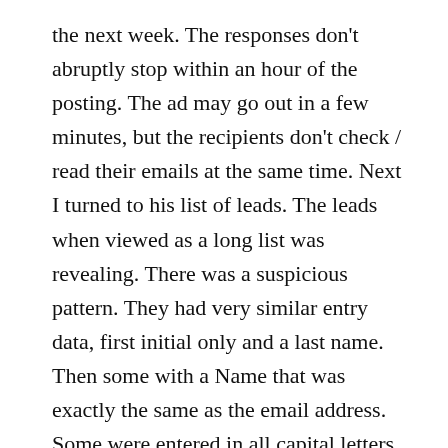the next week. The responses don't abruptly stop within an hour of the posting. The ad may go out in a few minutes, but the recipients don't check / read their emails at the same time. Next I turned to his list of leads. The leads when viewed as a long list was revealing. There was a suspicious pattern. They had very similar entry data, first initial only and a last name. Then some with a Name that was exactly the same as the email address. Some were entered in all capital letters, while others had the same style of abbreviations. Odd. I've been in the affiliate marketing industry for over 25 years, I can tell you one fact about data entry. Numerous people don't enter data in the very same way, and rarely on a list of 100 leads